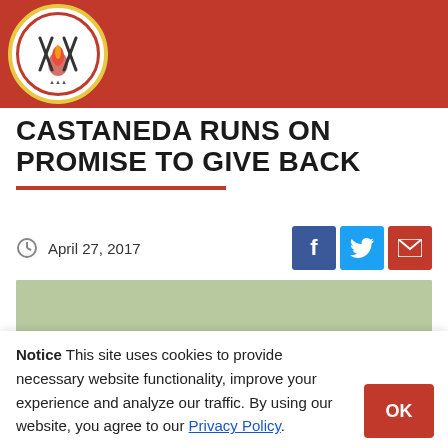[Figure (logo): Circular tribal/governmental logo with red background bar and crossed implements icon with fire, bordered in gold and red]
CASTANEDA RUNS ON PROMISE TO GIVE BACK
April 27, 2017
[Figure (photo): Partial photo showing a figure or object against a light green background]
Notice This site uses cookies to provide necessary website functionality, improve your experience and analyze our traffic. By using our website, you agree to our Privacy Policy.